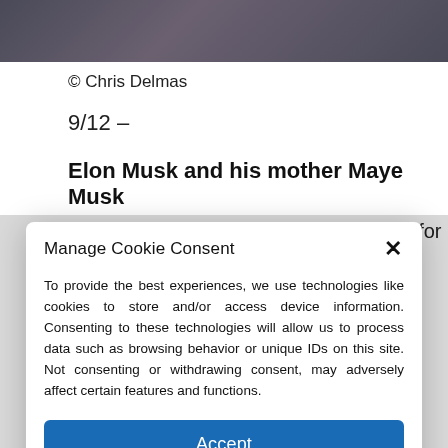[Figure (photo): Partial photo of people, cropped at top of page, dark tones]
© Chris Delmas
9/12 –
Elon Musk and his mother Maye Musk
Elon Musk and his mother Maye Musk, for
Manage Cookie Consent
To provide the best experiences, we use technologies like cookies to store and/or access device information. Consenting to these technologies will allow us to process data such as browsing behavior or unique IDs on this site. Not consenting or withdrawing consent, may adversely affect certain features and functions.
Accept
Cookie Policy